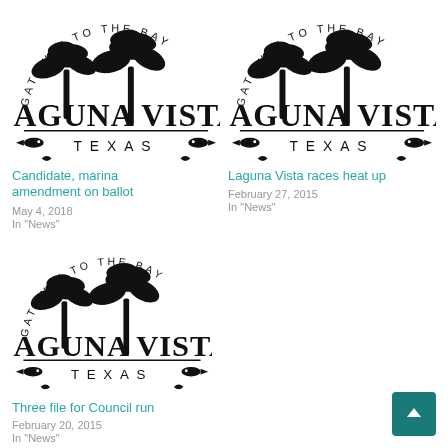[Figure (logo): Laguna Vista Texas Gateway to the Bay logo - city seal with palm trees]
Candidate, marina amendment on ballot
May 4, 2018
In "News"
[Figure (logo): Laguna Vista Texas Gateway to the Bay logo - city seal with palm trees]
Laguna Vista races heat up
February 27, 2015
In "News"
[Figure (logo): Laguna Vista Texas Gateway to the Bay logo - city seal with palm trees]
Three file for Council run
February 20, 2015
In "News"